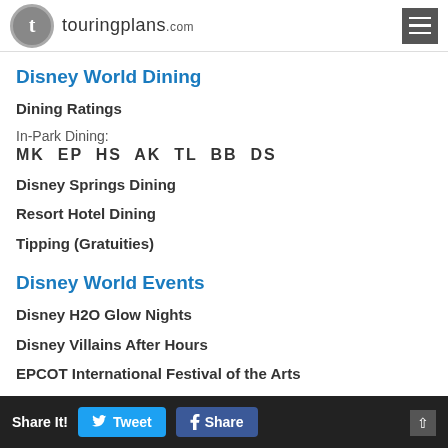touringplans.com
Disney World Dining
Dining Ratings
In-Park Dining:
MK  EP  HS  AK  TL  BB  DS
Disney Springs Dining
Resort Hotel Dining
Tipping (Gratuities)
Disney World Events
Disney H2O Glow Nights
Disney Villains After Hours
EPCOT International Festival of the Arts
EPCOT International Flower & Garden Festival
EPCOT International Food & Wine Festival
Mickey's Not-So-Scary Halloween Party
Mickey's Very Merry Christmas Party
Share It! Tweet Share